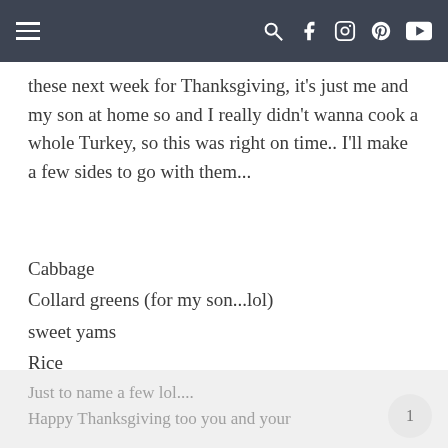Navigation bar with hamburger menu and social icons
these next week for Thanksgiving, it's just me and my son at home so and I really didn't wanna cook a whole Turkey, so this was right on time.. I'll make a few sides to go with them...
Cabbage
Collard greens (for my son...lol)
sweet yams
Rice
Mac & cheese
Stuffing
Corn bread
Just to name a few lol....
Happy Thanksgiving too you and your